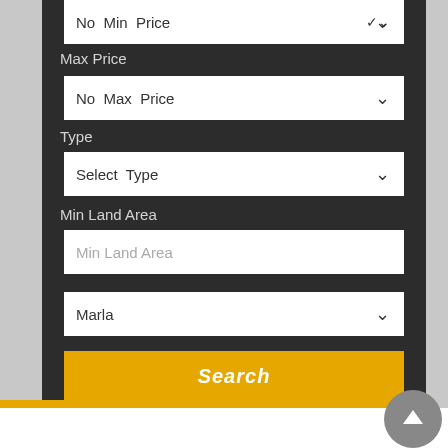[Figure (screenshot): Real estate property search filter UI screenshot showing dropdown fields for No Min Price, Max Price (No Max Price), Type (Select Type), Min Land Area text input, unit selector (Marla), and a Search button on a dark background panel]
No Min Price
Max Price
No Max Price
Type
Select Type
Min Land Area
Min Land Area
Marla
Search